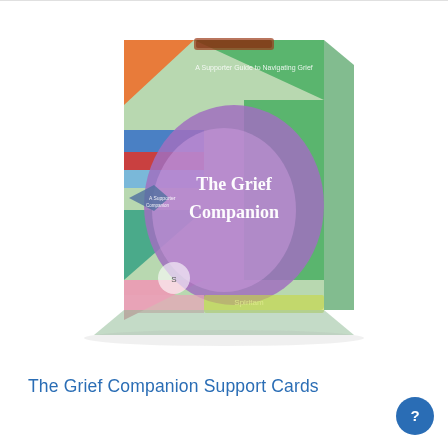[Figure (photo): Product photo of 'The Grief Companion' card box set. The box is colorfully illustrated with sections of orange, green, blue, red, teal, purple, pink, and yellow-green. A large purple oval on the front reads 'The Grief Companion' in white text. The top of the box has a card-slot opening. The publisher logo 'Spiritam' appears at the bottom.]
The Grief Companion Support Cards